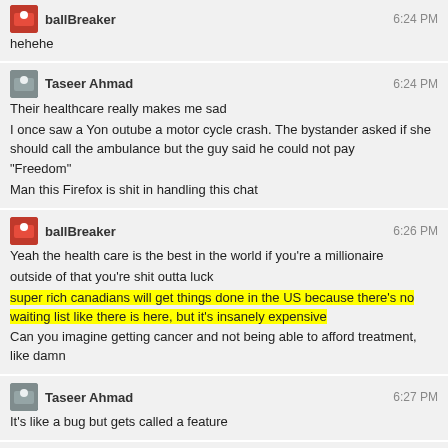ballBreaker 6:24 PM
hehehe
Taseer Ahmad 6:24 PM
Their healthcare really makes me sad
I once saw a Yon outube a motor cycle crash. The bystander asked if she should call the ambulance but the guy said he could not pay
"Freedom"
Man this Firefox is shit in handling this chat
ballBreaker 6:26 PM
Yeah the health care is the best in the world if you're a millionaire
outside of that you're shit outta luck
super rich canadians will get things done in the US because there's no waiting list like there is here, but it's insanely expensive
Can you imagine getting cancer and not being able to afford treatment, like damn
Taseer Ahmad 6:27 PM
It's like a bug but gets called a feature
ballBreaker 6:27 PM
hahahah
Exactly, the wait lists are non existent because nobody has money to get the treatment :D
but it's a feature for us Canadians who would have to wait and have more money than we know what to do with
Taseer Ahmad 6:29 PM